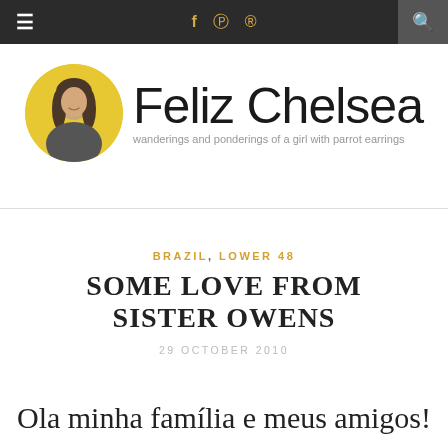≡  f  ⊡  ℗  🔍
[Figure (logo): Feliz Chelsea blog logo: circular yellow avatar with woman photo, large handwritten 'Feliz Chelsea' text, tagline 'wanderings and ponderings of a girl with parrot earrings']
BRAZIL, LOWER 48
SOME LOVE FROM SISTER OWENS
29 OCTOBER 2010
Ola minha família e meus amigos!